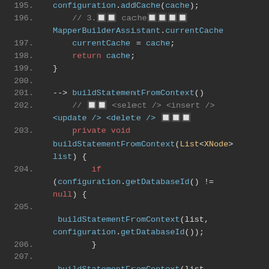[Figure (screenshot): Code editor screenshot showing Java/MyBatis source code lines 195-207 with syntax highlighting on dark background. Lines show cache configuration and buildStatementFromContext method implementation.]